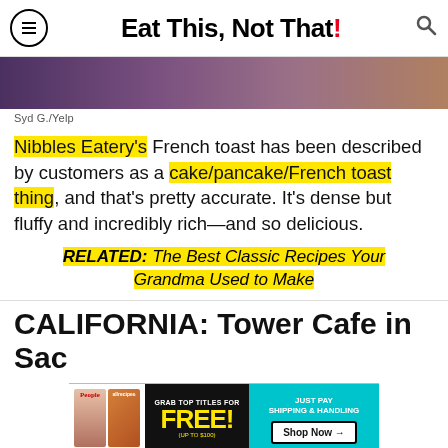Eat This, Not That!
[Figure (photo): Partial photo of food or person, cropped]
Syd G./Yelp
Nibbles Eatery's French toast has been described by customers as a cake/pancake/French toast thing, and that's pretty accurate. It's dense but fluffy and incredibly rich—and so delicious.
RELATED: The Best Classic Recipes Your Grandma Used to Make
CALIFORNIA: Tower Cafe in Sac
[Figure (screenshot): Advertisement banner for free magazine titles — People, allrecipes, with 'GRAB TOP TITLES FOR FREE! (UP TO $100) JUST PAY SHIPPING & HANDLING Shop Now']